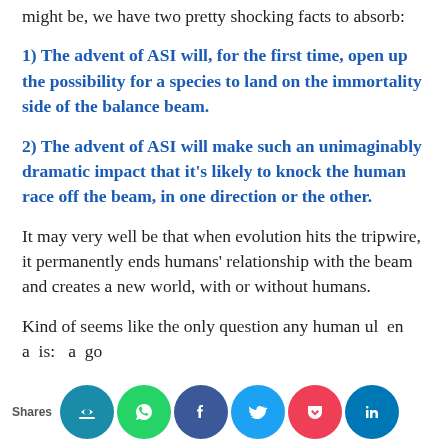might be, we have two pretty shocking facts to absorb:
1) The advent of ASI will, for the first time, open up the possibility for a species to land on the immortality side of the balance beam.
2) The advent of ASI will make such an unimaginably dramatic impact that it’s likely to knock the human race off the beam, in one direction or the other.
It may very well be that when evolution hits the tripwire, it permanently ends humans’ relationship with the beam and creates a new world, with or without humans.
Kind of seems like the only question any human ul en a is: a go
Shares [share buttons]